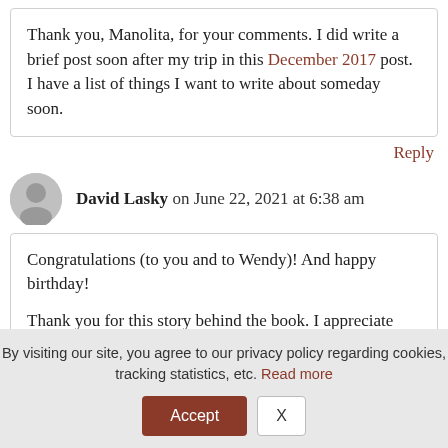Thank you, Manolita, for your comments. I did write a brief post soon after my trip in this December 2017 post. I have a list of things I want to write about someday soon.
Reply
David Lasky on June 22, 2021 at 6:38 am
Congratulations (to you and to Wendy)! And happy birthday!
Thank you for this story behind the book. I appreciate your writing. But I also want to say, as a visual person, that I appreciate the graphics and the layout of this page
By visiting our site, you agree to our privacy policy regarding cookies, tracking statistics, etc. Read more